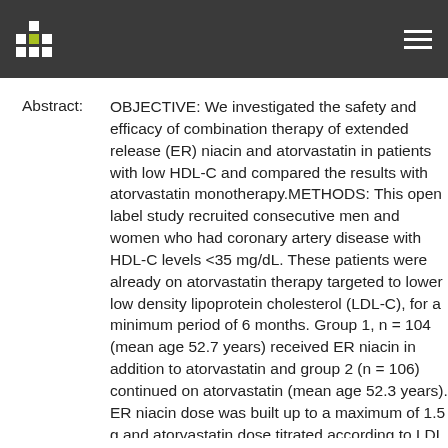[Header with logo and navigation]
Abstract: OBJECTIVE: We investigated the safety and efficacy of combination therapy of extended release (ER) niacin and atorvastatin in patients with low HDL-C and compared the results with atorvastatin monotherapy.METHODS: This open label study recruited consecutive men and women who had coronary artery disease with HDL-C levels <35 mg/dL. These patients were already on atorvastatin therapy targeted to lower low density lipoprotein cholesterol (LDL-C), for a minimum period of 6 months. Group 1, n = 104 (mean age 52.7 years) received ER niacin in addition to atorvastatin and group 2 (n = 106) continued on atorvastatin (mean age 52.3 years). ER niacin dose was built up to a maximum of 1.5 g and atorvastatin dose titrated according to LDL levels in both the groups. The lipoprotein levels at baseline were similar (p = NS).RESULTS: At 9 +/- 1.8 months of follow-up, the mean dose of ER niacin was 1.3 g and atorvastatin 13.2 mg in group 1. In comparison, group